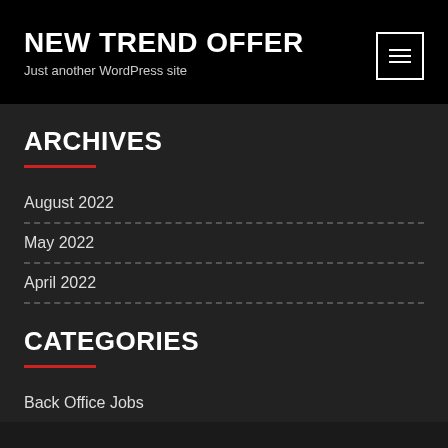NEW TREND OFFER
Just another WordPress site
ARCHIVES
August 2022
May 2022
April 2022
CATEGORIES
Back Office Jobs